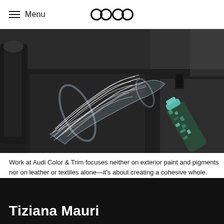Menu
[Figure (photo): Close-up photo of material samples in a car interior setting: a transparent acrylic tube with white feathery/fibrous filaments spilling out, resting on dark textile upholstery, alongside a decorative bottle with teal and multicolored cap and a dark object in the background.]
Work at Audi Color & Trim focuses neither on exterior paint and pigments nor on leather or textiles alone—it's about creating a cohesive whole.
Tiziana Mauri